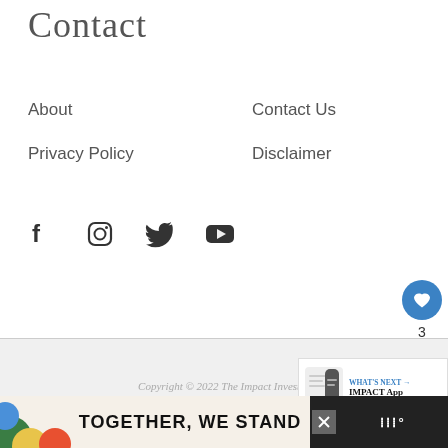Contact
About
Contact Us
Privacy Policy
Disclaimer
[Figure (illustration): Social media icons: Facebook, Instagram, Twitter, YouTube]
Copyright © 2022 The Impact Investor
Exclusive Member of Mediavine Finance
[Figure (screenshot): TOGETHER, WE STAND advertisement banner at the bottom of the page]